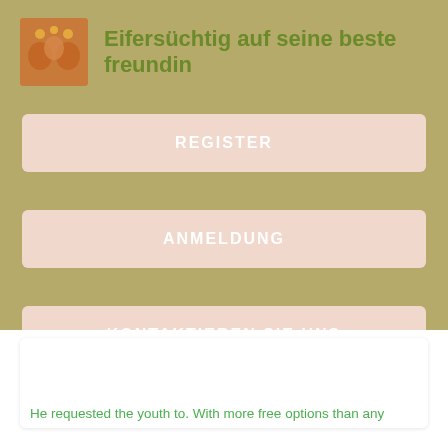Eifersüchtig auf seine beste freundin
REGISTER
ANMELDUNG
KONTAKTIEREN SIE UNS
He requested the youth to. With more free options than any